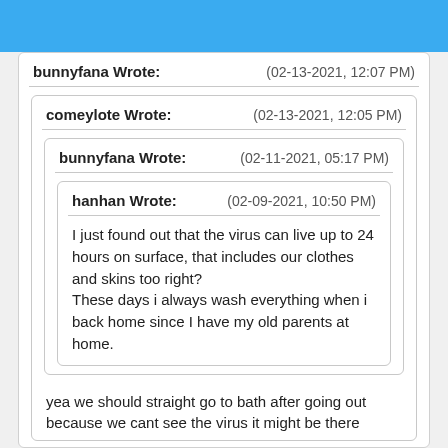bunnyfana Wrote:	(02-13-2021, 12:07 PM)
comeylote Wrote:	(02-13-2021, 12:05 PM)
bunnyfana Wrote:	(02-11-2021, 05:17 PM)
hanhan Wrote:	(02-09-2021, 10:50 PM)
I just found out that the virus can live up to 24 hours on surface, that includes our clothes and skins too right?
These days i always wash everything when i back home since I have my old parents at home.
yea we should straight go to bath after going out because we cant see the virus it might be there